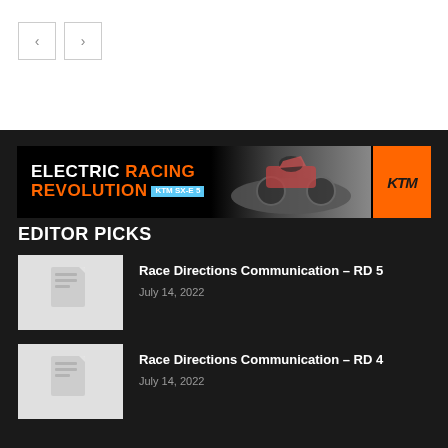[Figure (screenshot): Navigation previous/next buttons (left and right arrows) on white background]
[Figure (infographic): KTM Electric Racing Revolution SX-E 5 advertisement banner on black background with motocross rider image and orange KTM logo]
EDITOR PICKS
[Figure (photo): Article thumbnail placeholder image for Race Directions Communication RD 5]
Race Directions Communication – RD 5
July 14, 2022
[Figure (photo): Article thumbnail placeholder image for Race Directions Communication RD 4]
Race Directions Communication – RD 4
July 14, 2022